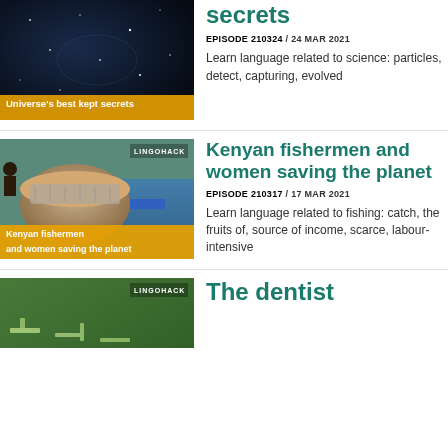[Figure (photo): Thumbnail image for 'Universe's best kept secrets' Lingohack episode, partially visible at top]
secrets
EPISODE 210324 / 24 MAR 2021
Learn language related to science: particles, detect, capturing, evolved
[Figure (photo): Thumbnail image showing Kenyan fishermen with fish in a bowl, with Lingohack badge and caption 'Kenyan fishermen and women saving the planet']
Kenyan fishermen and women saving the planet
EPISODE 210317 / 17 MAR 2021
Learn language related to fishing: catch, the fruits of, source of income, scarce, labour-intensive
[Figure (photo): Thumbnail image for 'The dentist' Lingohack episode, partially visible at bottom]
The dentist